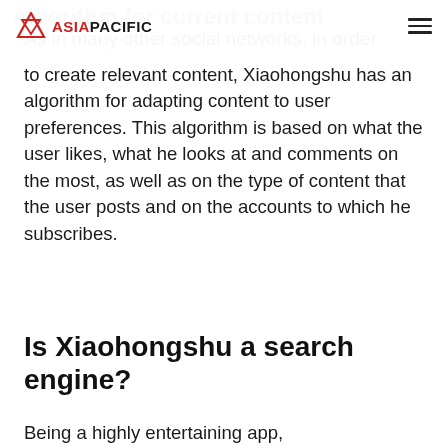ASIA PACIFIC
As in many other social networks, in order to create relevant content, Xiaohongshu has an algorithm for adapting content to user preferences. This algorithm is based on what the user likes, what he looks at and comments on the most, as well as on the type of content that the user posts and on the accounts to which he subscribes.
Is Xiaohongshu a search engine?
Being a highly entertaining app,